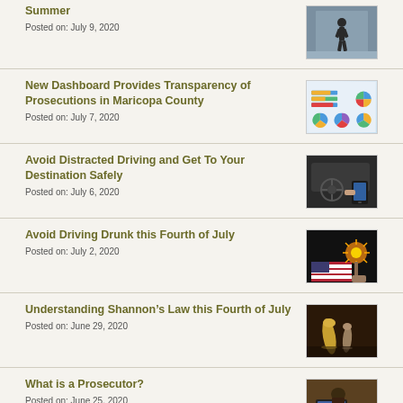Summer
Posted on: July 9, 2020
[Figure (photo): Person walking outdoors in summer]
New Dashboard Provides Transparency of Prosecutions in Maricopa County
Posted on: July 7, 2020
[Figure (screenshot): Dashboard with bar charts and pie charts showing prosecution statistics]
Avoid Distracted Driving and Get To Your Destination Safely
Posted on: July 6, 2020
[Figure (photo): Driver using phone while driving]
Avoid Driving Drunk this Fourth of July
Posted on: July 2, 2020
[Figure (photo): Sparkler with American flag at night]
Understanding Shannon’s Law this Fourth of July
Posted on: June 29, 2020
[Figure (photo): Bullets and firearm on dark surface]
What is a Prosecutor?
Posted on: June 25, 2020
[Figure (photo): Legal professional working at desk]